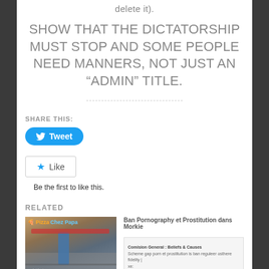delete it).
SHOW THAT THE DICTATORSHIP MUST STOP AND SOME PEOPLE NEED MANNERS, NOT JUST AN “ADMIN” TITLE.
SHARE THIS:
[Figure (screenshot): Twitter Tweet button (blue rounded rectangle with bird icon and 'Tweet' text)]
[Figure (screenshot): WordPress Like button (white rectangle with star icon and 'Like' text)]
Be the first to like this.
RELATED
[Figure (photo): Street-level photo of a pizza restaurant storefront]
[Figure (screenshot): Document screenshot titled 'Ban Pornography et Prostitution dans Morkie' with Comision General, Beliefs & Causes section and Prosecute Office details]